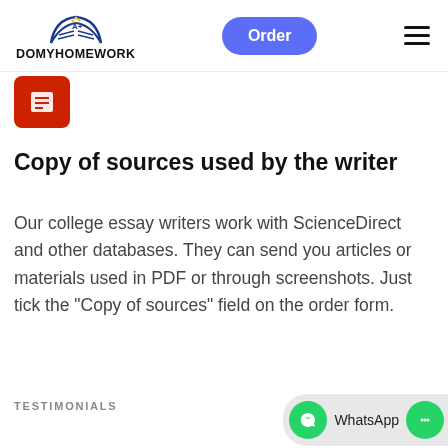DOMYHOMEWORK — Order button and hamburger menu
[Figure (logo): DoMyHomework logo: open book with A+ text, black bold text DOMYHOMEWORK below, blue Order button, hamburger menu icon]
[Figure (illustration): Red rounded square icon — copy of sources icon]
Copy of sources used by the writer
Our college essay writers work with ScienceDirect and other databases. They can send you articles or materials used in PDF or through screenshots. Just tick the "Copy of sources" field on the order form.
TESTIMONIALS
[Figure (screenshot): WhatsApp floating chat widget at bottom right]